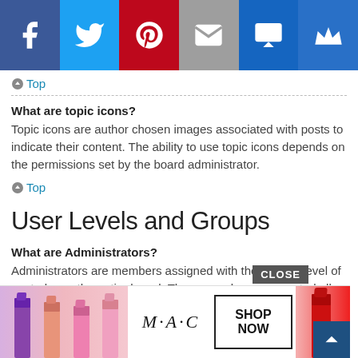[Figure (infographic): Social media sharing bar with icons for Facebook, Twitter, Pinterest, Email, SMS, and a crown/premium icon]
↑ Top
What are topic icons?
Topic icons are author chosen images associated with posts to indicate their content. The ability to use topic icons depends on the permissions set by the board administrator.
↑ Top
User Levels and Groups
What are Administrators?
Administrators are members assigned with the highest level of control over the entire board. These members can control all facets of board operation, including setting pe...ns bann... depe...s he or sh...
[Figure (advertisement): MAC Cosmetics advertisement with lipsticks and a SHOP NOW button, overlaid with a CLOSE button]